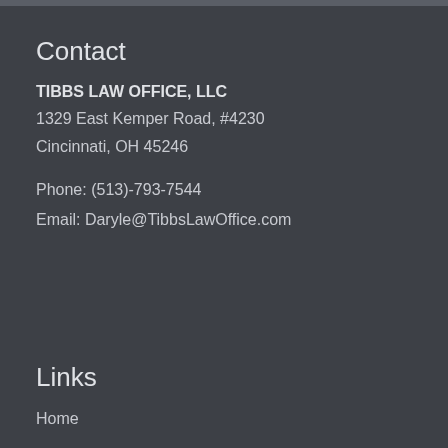Contact
TIBBS LAW OFFICE, LLC
1329 East Kemper Road, #4230
Cincinnati, OH 45246

Phone: (513)-793-7544
Email: Daryle@TibbsLawOffice.com
Links
Home